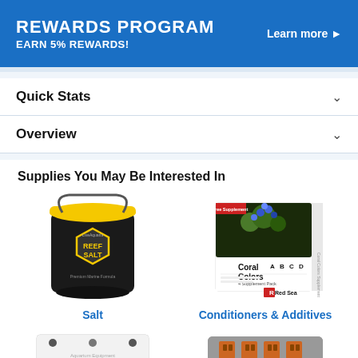[Figure (infographic): Rewards Program banner: blue background, 'REWARDS PROGRAM' in large white bold text, 'EARN 5% REWARDS!' below, 'Learn more ▶' link on right]
Quick Stats
Overview
Supplies You May Be Interested In
[Figure (photo): Black bucket with yellow lid labeled 'REEF SALT' with hexagon logo - LiveAquaria brand]
Salt
[Figure (photo): White box labeled 'Coral Colors A B C D 4 Supplement Pack' with coral/reef image, Red Sea brand]
Conditioners & Additives
[Figure (photo): White rectangular device with two circular ports - appears to be aquarium equipment]
[Figure (photo): Gray device with orange outlets - appears to be a power strip or surge protector]